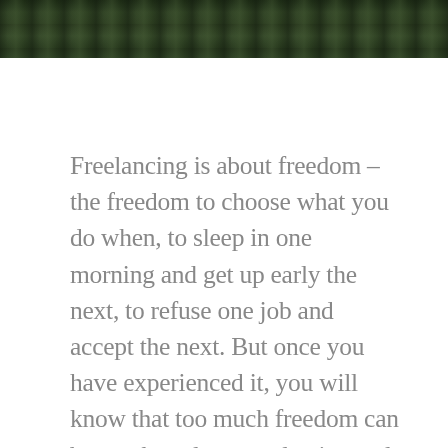[Figure (photo): A narrow wooden boardwalk path leading through dense green forest/jungle, viewed from above at a slight angle, dark and lush vegetation on both sides.]
Freelancing is about freedom – the freedom to choose what you do when, to sleep in one morning and get up early the next, to refuse one job and accept the next. But once you have experienced it, you will know that too much freedom can be an obstacle to productive and successful freelancing. It's too easy for freedom to deteriorate into long sleep-ins, series-watching, eating, or just excessively tidy